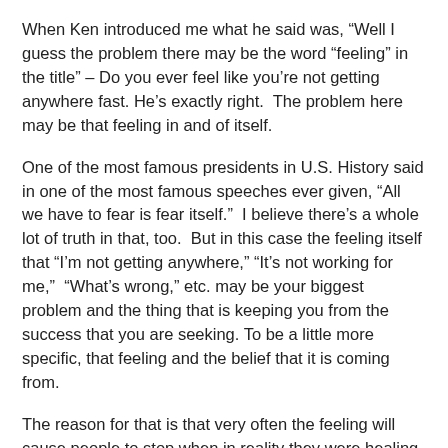When Ken introduced me what he said was, “Well I guess the problem there may be the word “feeling” in the title” – Do you ever feel like you’re not getting anywhere fast. He’s exactly right.  The problem here may be that feeling in and of itself.
One of the most famous presidents in U.S. History said in one of the most famous speeches ever given, “All we have to fear is fear itself.”  I believe there’s a whole lot of truth in that, too.  But in this case the feeling itself that “I’m not getting anywhere,” “It’s not working for me,”  “What’s wrong,” etc. may be your biggest problem and the thing that is keeping you from the success that you are seeking. To be a little more specific, that feeling and the belief that it is coming from.
The reason for that is that very often the feeling will cause people to stop when in reality they were healing exactly